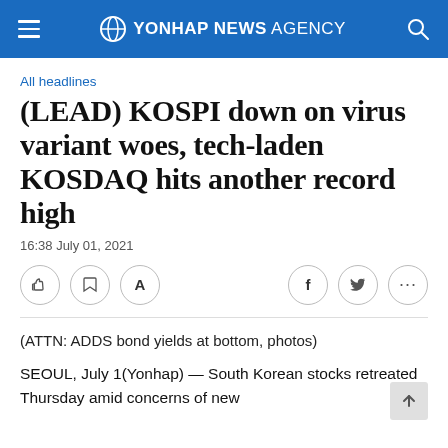YONHAP NEWS AGENCY
All headlines
(LEAD) KOSPI down on virus variant woes, tech-laden KOSDAQ hits another record high
16:38 July 01, 2021
(ATTN: ADDS bond yields at bottom, photos)
SEOUL, July 1(Yonhap) — South Korean stocks retreated Thursday amid concerns of new